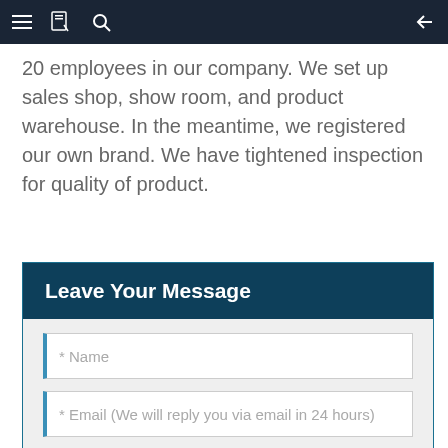Navigation bar with menu, bookmark, search icons and back arrow
20 employees in our company. We set up sales shop, show room, and product warehouse. In the meantime, we registered our own brand. We have tightened inspection for quality of product.
Leave Your Message
* Name
* Email (We will reply you via email in 24 hours)
Phone/WhatsApp/WeChat (Very important)
* Enter product details such as size, color, materials etc. and other specific requirements to receive an accurate quote.